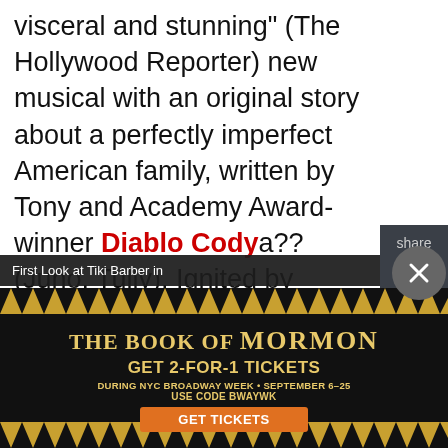visceral and stunning" (The Hollywood Reporter) new musical with an original story about a perfectly imperfect American family, written by Tony and Academy Award-winner Diablo Cody a??(Juno, Tully). Ignited by Morissette's groundbreaking lyrics and music - from beloved hits such as "You Oughta Know," "Head Over Feet," "Hand In My Pocket," and "Ironic", to brand new songs written for the show - JAGGED LITTLE PILL is directed by Tony Award winner Diane Paulus (Waitress, Pippin). Through explosive choreography by Tony Award nominee and frequent Beyoncé collaborator Sidi Larbi Cherkaoui ("Apesh*t"; "Love Drought/Sandcastles" Live at The Grammys), and the raw power of an onstage band
[Figure (screenshot): Share sidebar with Twitter and Facebook icons on dark background]
First Look at Tiki Barber in
[Figure (infographic): Advertisement for The Book of Mormon musical: GET 2-FOR-1 TICKETS DURING NYC BROADWAY WEEK * SEPTEMBER 6-25, USE CODE BWAYWK, GET TICKETS button. Gold starburst border design on dark background.]